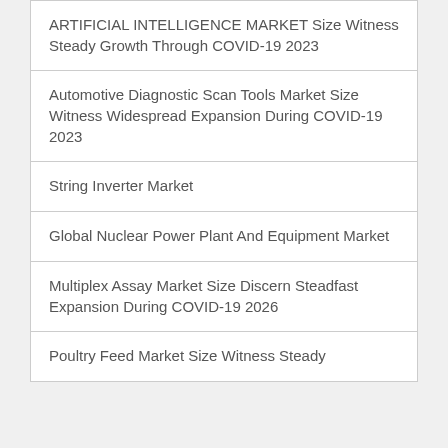ARTIFICIAL INTELLIGENCE MARKET Size Witness Steady Growth Through COVID-19 2023
Automotive Diagnostic Scan Tools Market Size Witness Widespread Expansion During COVID-19 2023
String Inverter Market
Global Nuclear Power Plant And Equipment Market
Multiplex Assay Market Size Discern Steadfast Expansion During COVID-19 2026
Poultry Feed Market Size Witness Steady